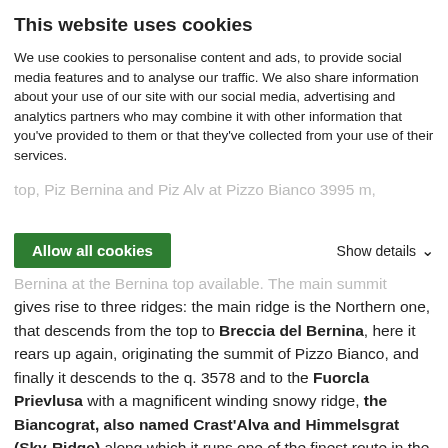This website uses cookies
We use cookies to personalise content and ads, to provide social media features and to analyse our traffic. We also share information about your use of our site with our social media, advertising and analytics partners who may combine it with other information that you've provided to them or that they've collected from your use of their services.
Allow all cookies
Show details
gives rise to three ridges: the main ridge is the Northern one, that descends from the top to Breccia del Bernina, here it rears up again, originating the summit of Pizzo Bianco, and finally it descends to the q. 3578 and to the Fuorcla Prievlusa with a magnificent winding snowy ridge, the Biancograt, also named Crast'Alva and Himmelsgrat (Sky-Ridge) along which it runs one of the finest route in the whole massif. The second ridge runs Eastwards, it's a brief rocky ridge forming in the lower part the Sass dal Pos buttress. The third ridge is the Southern one, forking in two parts on Spalla del Bernina 4021 m, also named Punta Generale Perrucchetti and La Spedla.